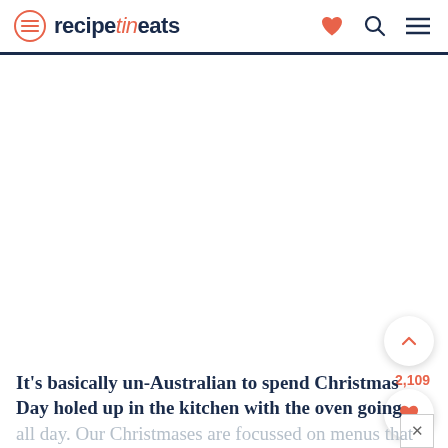recipetineats
[Figure (photo): Large white/blank image area, main content hero image placeholder]
It's basically un-Australian to spend Christmas Day holed up in the kitchen with the oven going all day. Our Christmases are focussed on menus that can be prepared in advance, or with minimal